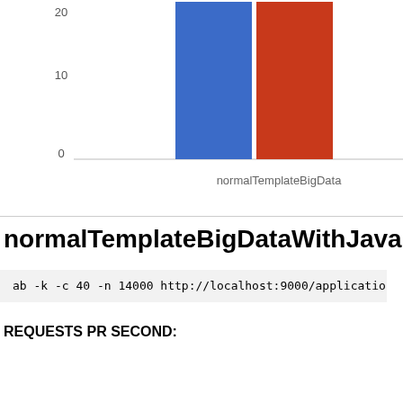[Figure (bar-chart): ]
normalTemplateBigDataWithJava...
ab -k -c 40 -n 14000 http://localhost:9000/applicatio...
REQUESTS PR SECOND:
| 1.2.4-rc2 | 290 r/s |
| new impl | 434 r/s |